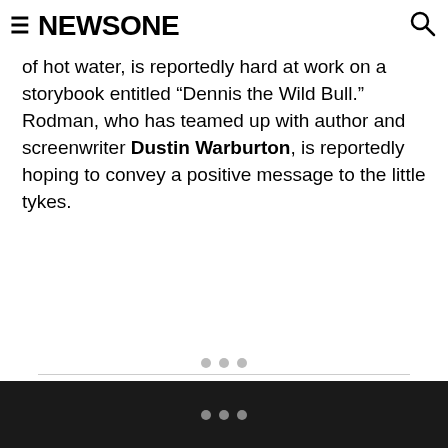NEWSONE
of hot water, is reportedly hard at work on a storybook entitled “Dennis the Wild Bull.”  Rodman, who has teamed up with author and screenwriter Dustin Warburton, is reportedly hoping to convey a positive message to the little tykes.